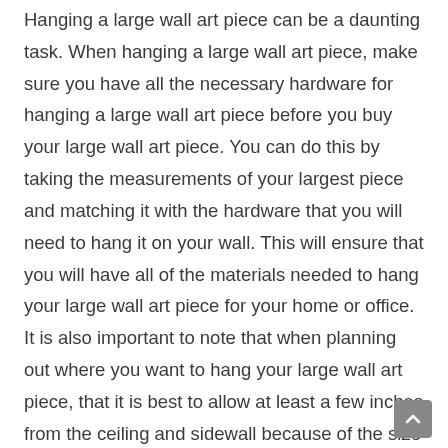Hanging a large wall art piece can be a daunting task. When hanging a large wall art piece, make sure you have all the necessary hardware for hanging a large wall art piece before you buy your large wall art piece. You can do this by taking the measurements of your largest piece and matching it with the hardware that you will need to hang it on your wall. This will ensure that you will have all of the materials needed to hang your large wall art piece for your home or office. It is also important to note that when planning out where you want to hang your large wall art piece, that it is best to allow at least a few inches from the ceiling and sidewall because of the size and weight of your large wall art piece.